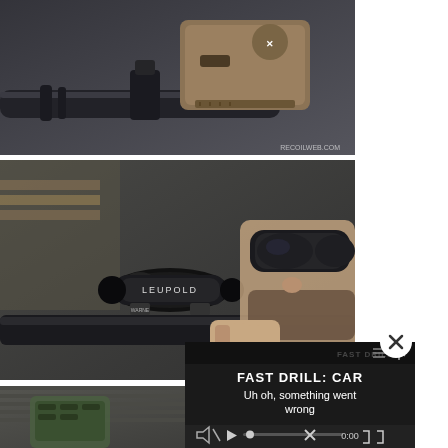[Figure (photo): Close-up photo of a rifle with a tan/FDE colored Spikes Tactical upper receiver, black barrel with suppressor/muzzle device, and tactical accessories. Watermark reads RECOILWEB.COM]
[Figure (photo): Photo of a bearded man wearing sunglasses and aiming a rifle with a Leupold scope and Warne mount rings at an outdoor shooting range]
[Figure (photo): Partial photo visible at bottom showing tactical gear/backpack]
[Figure (screenshot): Video player overlay showing title FAST DRILL: CAR with error message 'Uh oh, something went wrong' and playback controls showing 0:00 timestamp. Hamburger menu and share icons visible in top right.]
[Figure (other): Close button (X in white circle) overlaying the video player]